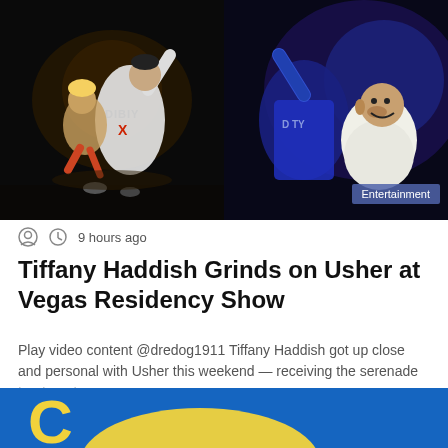[Figure (photo): Two concert performance photos side by side. Left: performer in white oversized jersey with 'DIBIY' text lifting a woman on a dark stage. Right: close-up of performer in dark jacket and smiling bald individual under blue stage lighting, with an 'Entertainment' badge overlay.]
9 hours ago
Tiffany Haddish Grinds on Usher at Vegas Residency Show
Play video content @dredog1911 Tiffany Haddish got up close and personal with Usher this weekend — receiving the serenade treatment...
Read More »
[Figure (photo): Bottom strip showing a blue background with a large yellow letter C and a yellow curved blob/shape, partially cut off.]